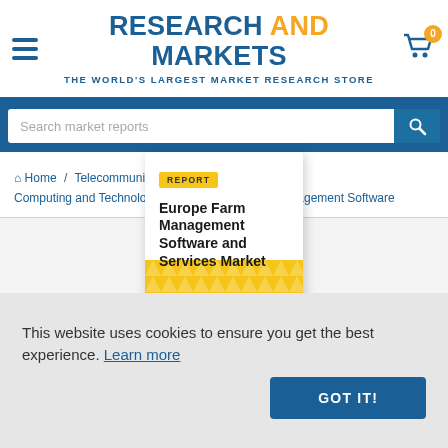RESEARCH AND MARKETS – THE WORLD'S LARGEST MARKET RESEARCH STORE
Search market reports
Home / Telecommunications and Computing / Computing and Technology / Software / Farm Management Software
[Figure (illustration): Book cover for 'Europe Farm Management Software and Services Market' report with yellow REPORT tag and triangular pattern background]
This website uses cookies to ensure you get the best experience. Learn more
GOT IT!